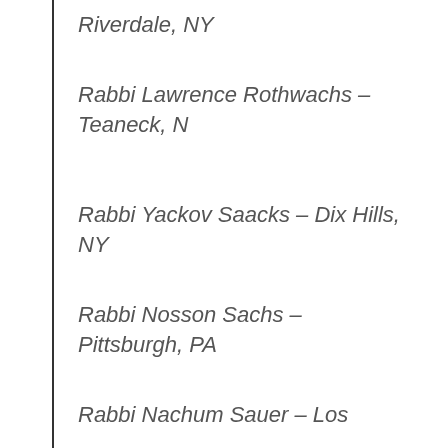Riverdale, NY
Rabbi Lawrence Rothwachs – Teaneck, N
Rabbi Yackov Saacks – Dix Hills, NY
Rabbi Nosson Sachs – Pittsburgh, PA
Rabbi Nachum Sauer – Los